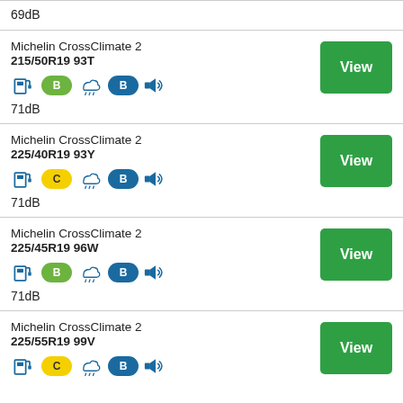69dB
Michelin CrossClimate 2 215/50R19 93T — B B 71dB
Michelin CrossClimate 2 225/40R19 93Y — C B 71dB
Michelin CrossClimate 2 225/45R19 96W — B B 71dB
Michelin CrossClimate 2 225/55R19 99V — C B